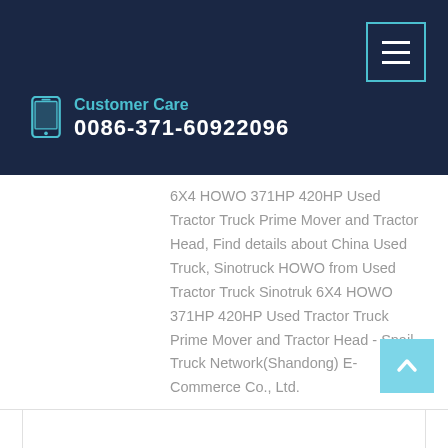Customer Care 0086-371-60922096
6X4 HOWO 371HP 420HP Used Tractor Truck Prime Mover and Tractor Head, Find details about China Used Truck, Sinotruck HOWO from Used Tractor Truck Sinotruk 6X4 HOWO 371HP 420HP Used Tractor Truck Prime Mover and Tractor Head - Snail Truck Network(Shandong) E-Commerce Co., Ltd.
Learn More